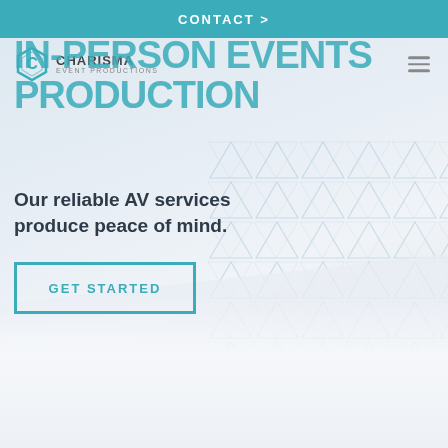CONTACT >
[Figure (logo): Charisma Event Productions logo with hexagon C icon]
IN-PERSON EVENTS PRODUCTION
Our reliable AV services produce peace of mind.
GET STARTED
[Figure (illustration): Geometric triangular hexagonal pattern in light blue/grey on the right side of the page]